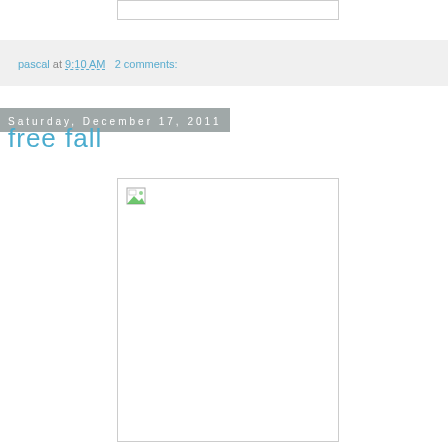[Figure (other): Broken/placeholder image thumbnail at top]
pascal at 9:10 AM   2 comments:
Saturday, December 17, 2011
free fall
[Figure (photo): Broken/placeholder image - large image box with broken image icon in top-left corner]